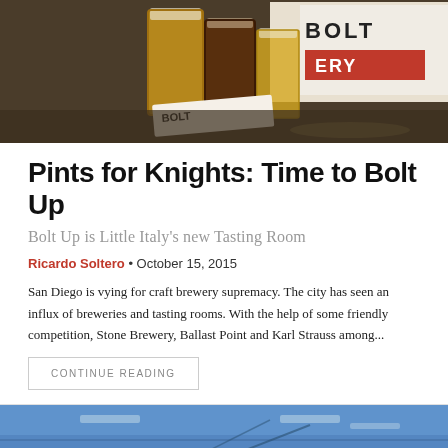[Figure (photo): Photo of beer glasses on a bar counter with a BOLT Brewery sign in background]
Pints for Knights: Time to Bolt Up
Bolt Up is Little Italy's new Tasting Room
Ricardo Soltero • October 15, 2015
San Diego is vying for craft brewery supremacy. The city has seen an influx of breweries and tasting rooms. With the help of some friendly competition, Stone Brewery, Ballast Point and Karl Strauss among...
CONTINUE READING
[Figure (photo): Photo of interior space with blue ceiling and industrial fixtures]